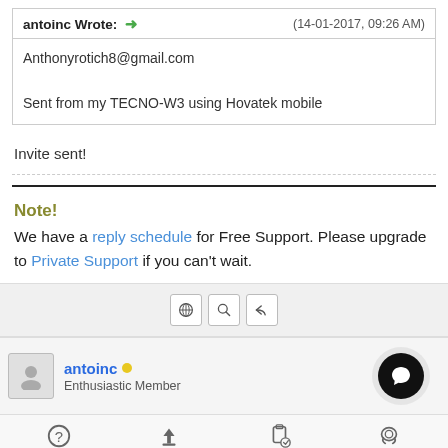antoinc Wrote: → (14-01-2017, 09:26 AM)
Anthonyrotich8@gmail.com
Sent from my TECNO-W3 using Hovatek mobile
Invite sent!
Note!
We have a reply schedule for Free Support. Please upgrade to Private Support if you can't wait.
antoinc · Enthusiastic Member